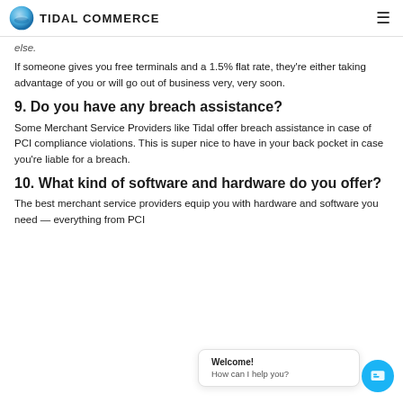TIDAL COMMERCE
else.
If someone gives you free terminals and a 1.5% flat rate, they're either taking advantage of you or will go out of business very, very soon.
9. Do you have any breach assistance?
Some Merchant Service Providers like Tidal offer breach assistance in case of PCI compliance violations. This is super nice to have in your back pocket in case you're liable for a breach.
10. What kind of software and hardware do you offer?
The best merchant service providers equip you with hardware and software you need — everything from PCI